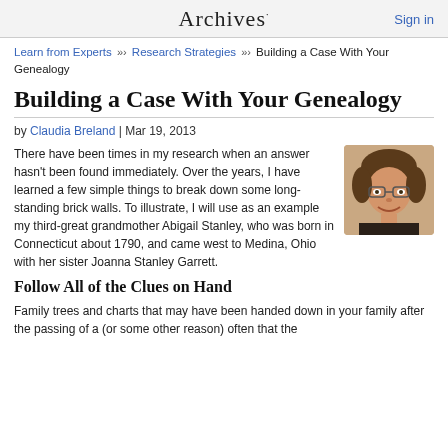Archives · Sign in
Learn from Experts »› Research Strategies »› Building a Case With Your Genealogy
Building a Case With Your Genealogy
by Claudia Breland | Mar 19, 2013
[Figure (photo): Headshot photo of author Claudia Breland, a smiling woman with glasses and curly hair]
There have been times in my research when an answer hasn't been found immediately. Over the years, I have learned a few simple things to break down some long-standing brick walls. To illustrate, I will use as an example my third-great grandmother Abigail Stanley, who was born in Connecticut about 1790, and came west to Medina, Ohio with her sister Joanna Stanley Garrett.
Follow All of the Clues on Hand
Family trees and charts that may have been handed down in your family after the passing of a (or some other reason) often that the